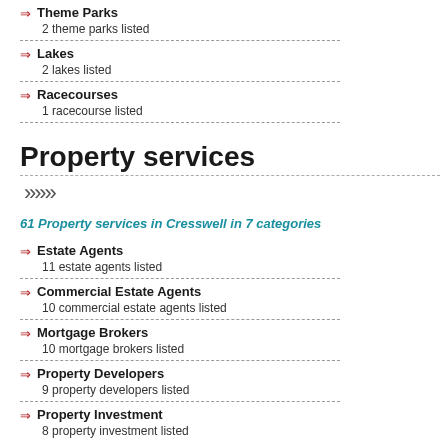Theme Parks
2 theme parks listed
Lakes
2 lakes listed
Racecourses
1 racecourse listed
Property services
61 Property services in Cresswell in 7 categories
Estate Agents
11 estate agents listed
Commercial Estate Agents
10 commercial estate agents listed
Mortgage Brokers
10 mortgage brokers listed
Property Developers
9 property developers listed
Property Investment
8 property investment listed